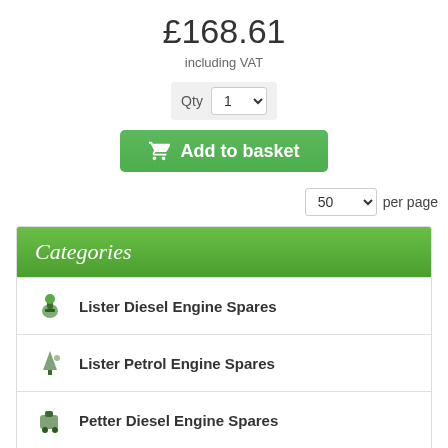£168.61
including VAT
Qty 1 (dropdown)
Add to basket
50 per page
Categories
Lister Diesel Engine Spares
Lister Petrol Engine Spares
Petter Diesel Engine Spares
Petter Petrol Engine Spares